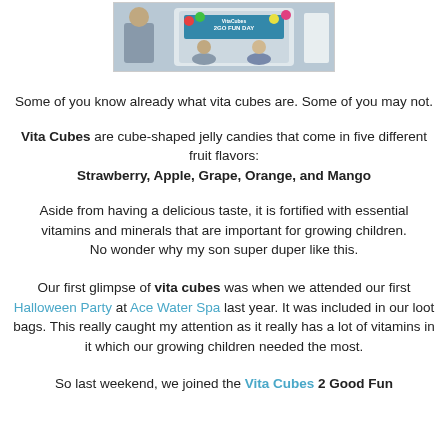[Figure (photo): Photo of a Vita Cubes event booth with children and colorful balloons, banner reads 'VitaCubes 2GO FUN DAY']
Some of you know already what vita cubes are. Some of you may not.
Vita Cubes are cube-shaped jelly candies that come in five different fruit flavors: Strawberry, Apple, Grape, Orange, and Mango
Aside from having a delicious taste, it is fortified with essential vitamins and minerals that are important for growing children.
No wonder why my son super duper like this.
Our first glimpse of vita cubes was when we attended our first Halloween Party at Ace Water Spa last year. It was included in our loot bags. This really caught my attention as it really has a lot of vitamins in it which our growing children needed the most.
So last weekend, we joined the Vita Cubes 2 Good Fun